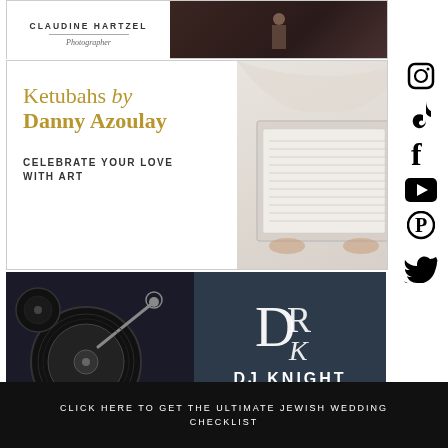[Figure (advertisement): Claudine Hartzel Photographer ad with wedding couple photo]
[Figure (advertisement): Ketubahs by Danny Azoulay ad - Celebrate Your Love With Art, showing decorative ketubah artwork]
[Figure (advertisement): DJ Knight International Wedding DJ ad with turntable photo and monogram logo]
[Figure (advertisement): Partial bottom advertisement with flowers and woman]
[Figure (infographic): Social media sidebar icons: Instagram, TikTok, Facebook, YouTube, Pinterest, Twitter]
CLOSE
CLICK HERE TO GET THE ULTIMATE JEWISH WEDDING CHECKLIST